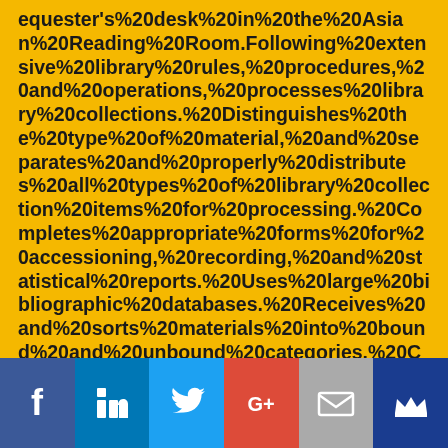equester's%20desk%20in%20the%20Asian%20Reading%20Room.Following%20extensive%20library%20rules,%20procedures,%20and%20operations,%20processes%20library%20collections.%20Distinguishes%20the%20type%20of%20material,%20and%20separates%20and%20properly%20distributes%20all%20types%20of%20library%20collection%20items%20for%20processing.%20Completes%20appropriate%20forms%20for%20accessioning,%20recording,%20and%20statistical%20reports.%20Uses%20large%20bibliographic%20databases.%20Receives%20and%20sorts%20materials%20into%20bound%20and%20unbound%20categories.%20Checks%20in%20materials.%20Prepares%20materials%20for%20digital%20conversion%20or%20binding.%20Attaches%20call%20numbers.Learns%20proper%20method%20of%20handling%20books,%20paper,%20photographs,%20CDs,%20microfilms%20and%20microfiches,%20or%20movin
[Figure (infographic): Social media share buttons bar: Facebook (blue), LinkedIn (blue), Twitter (light blue), Google+ (red), Mail (grey), Crown/Muck Rack (dark blue)]